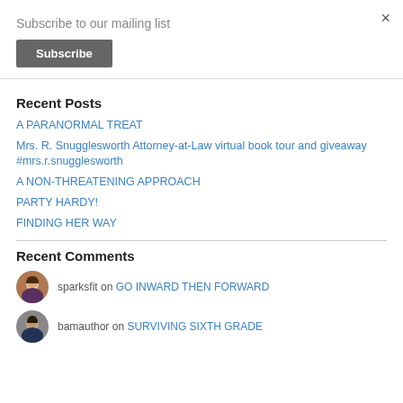×
Subscribe to our mailing list
Subscribe
Recent Posts
A PARANORMAL TREAT
Mrs. R. Snugglesworth Attorney-at-Law virtual book tour and giveaway #mrs.r.snugglesworth
A NON-THREATENING APPROACH
PARTY HARDY!
FINDING HER WAY
Recent Comments
sparksfit on GO INWARD THEN FORWARD
bamauthor on SURVIVING SIXTH GRADE